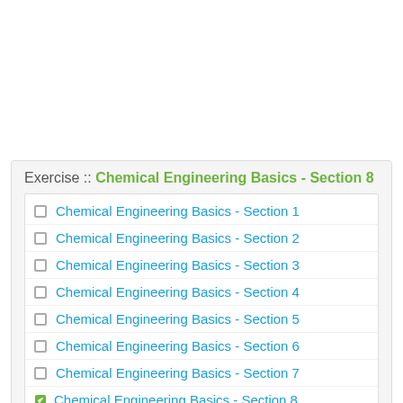Exercise :: Chemical Engineering Basics - Section 8
Chemical Engineering Basics - Section 1
Chemical Engineering Basics - Section 2
Chemical Engineering Basics - Section 3
Chemical Engineering Basics - Section 4
Chemical Engineering Basics - Section 5
Chemical Engineering Basics - Section 6
Chemical Engineering Basics - Section 7
Chemical Engineering Basics - Section 8